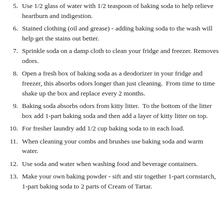5. Use 1/2 glass of water with 1/2 teaspoon of baking soda to help relieve heartburn and indigestion.
6. Stained clothing (oil and grease) - adding baking soda to the wash will help get the stains out better.
7. Sprinkle soda on a damp cloth to clean your fridge and freezer. Removes odors.
8. Open a fresh box of baking soda as a deodorizer in your fridge and freezer, this absorbs odors longer than just cleaning. From time to time shake up the box and replace every 2 months.
9. Baking soda absorbs odors from kitty litter. To the bottom of the litter box add 1-part baking soda and then add a layer of kitty litter on top.
10. For fresher laundry add 1/2 cup baking soda to in each load.
11. When cleaning your combs and brushes use baking soda and warm water.
12. Use soda and water when washing food and beverage containers.
13. Make your own baking powder - sift and stir together 1-part cornstarch, 1-part baking soda to 2 parts of Cream of Tartar.